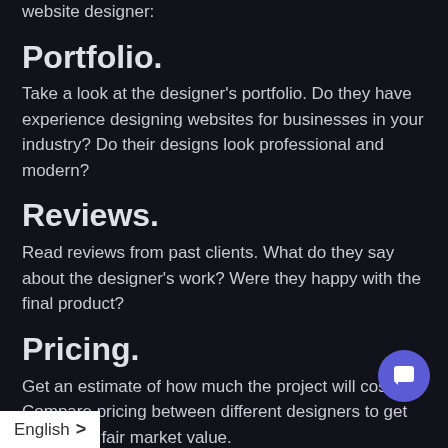website designer:
Portfolio.
Take a look at the designer's portfolio. Do they have experience designing websites for businesses in your industry? Do their designs look professional and modern?
Reviews.
Read reviews from past clients. What do they say about the designer's work? Were they happy with the final product?
Pricing.
Get an estimate of how much the project will cost. Compare pricing between different designers to get an idea of fair market value.